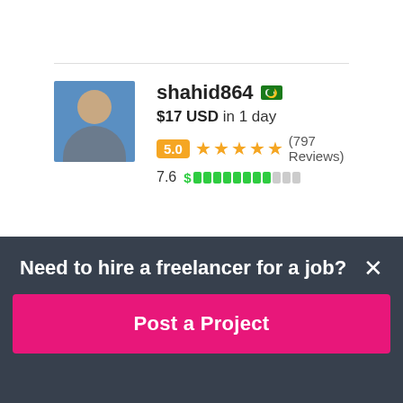[Figure (photo): Avatar photo of shahid864, a man in a blue background]
shahid864
$17 USD in 1 day
5.0 ★★★★★ (797 Reviews)
7.6 $ [progress bar]
[Figure (photo): Partial avatar of jawwadmemon74]
jawwadmemon74
Need to hire a freelancer for a job?
Post a Project